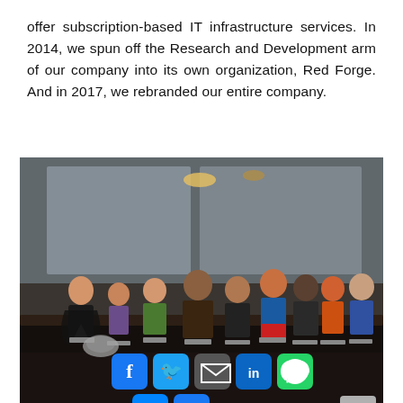offer subscription-based IT infrastructure services. In 2014, we spun off the Research and Development arm of our company into its own organization, Red Forge. And in 2017, we rebranded our entire company.
[Figure (photo): A photograph of a row of custom bobblehead figurines dressed as superheroes on a conference table in an office setting. Social media sharing buttons (Facebook, Twitter, Email, LinkedIn, WhatsApp, Messenger, Plus) are overlaid at the bottom of the image.]